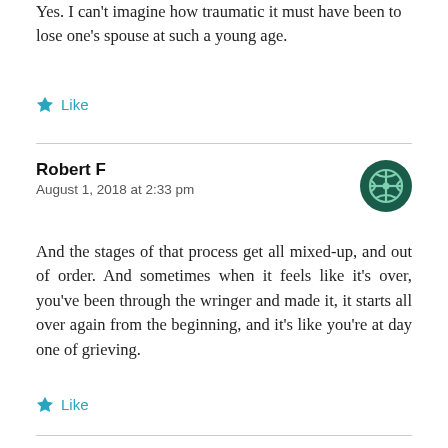Yes. I can't imagine how traumatic it must have been to lose one's spouse at such a young age.
Like
Robert F
August 1, 2018 at 2:33 pm
And the stages of that process get all mixed-up, and out of order. And sometimes when it feels like it's over, you've been through the wringer and made it, it starts all over again from the beginning, and it's like you're at day one of grieving.
Like